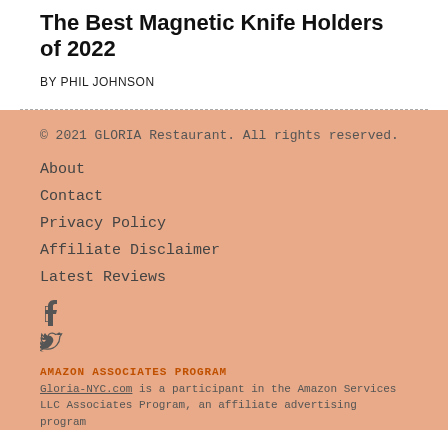The Best Magnetic Knife Holders of 2022
BY PHIL JOHNSON
© 2021 GLORIA Restaurant. All rights reserved.
About
Contact
Privacy Policy
Affiliate Disclaimer
Latest Reviews
f
Twitter bird icon
AMAZON ASSOCIATES PROGRAM
Gloria-NYC.com is a participant in the Amazon Services LLC Associates Program, an affiliate advertising program